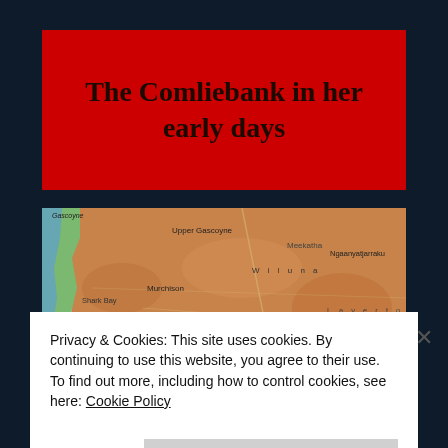The Comliebank in her early days
[Figure (map): Topographic/relief map of Western Australia showing regions including Upper Gascoyne, Shark Bay, Murchison, Meekatharra, Wiluna, Ngaanyatjarraku, Laverton, Leonora, Yalgoo, Merredin]
Privacy & Cookies: This site uses cookies. By continuing to use this website, you agree to their use.
To find out more, including how to control cookies, see here: Cookie Policy
Close and accept